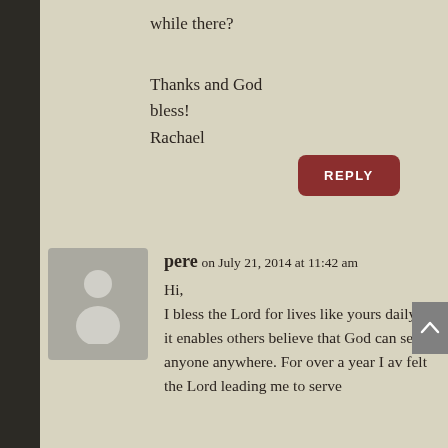while there?
Thanks and God bless!
Rachael
[Figure (screenshot): Reply button — dark red rounded rectangle with white REPLY text]
[Figure (illustration): Generic user avatar — grey square with white silhouette person icon]
pere on July 21, 2014 at 11:42 am
Hi,
I bless the Lord for lives like yours daily cos it enables others believe that God can send anyone anywhere. For over a year I av felt the Lord leading me to serve